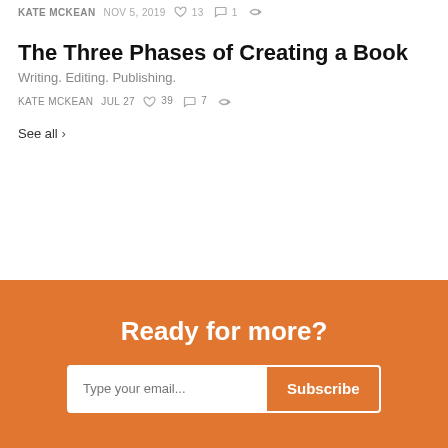KATE MCKEAN  NOV 5, 2019  ♡ 13  💬 1
The Three Phases of Creating a Book
Writing. Editing. Publishing.
KATE MCKEAN  JUL 27  ♡ 39  💬 7
See all ›
Ready for more?
Type your email...  Subscribe